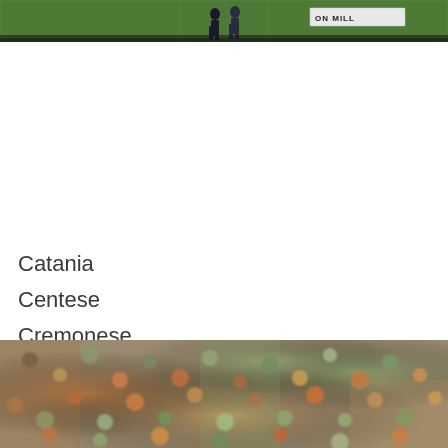[Figure (photo): Top portion of a football/soccer match photo showing players on a green pitch with a banner visible on the right side]
Catania
Centese
Cremonese
Juve Stabia, 1991:
[Figure (photo): Crowd photo from 1991, showing a dense crowd of spectators at a football match, colorful and blurry]